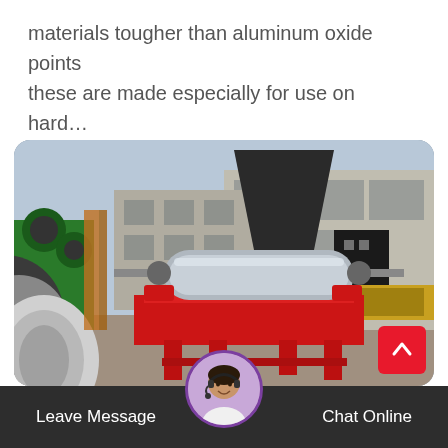materials tougher than aluminum oxide points these are made especially for use on hard…
[Figure (photo): Industrial magnetic separator machine with red frame and metallic drum roller, photographed outdoors at a factory/industrial yard. Background shows industrial buildings and other heavy equipment including green machinery with rollers on the left side.]
Leave Message   Chat Online